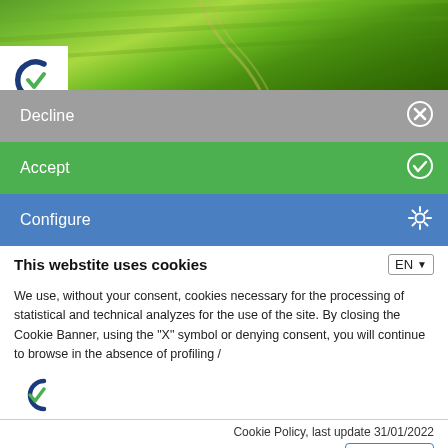[Figure (photo): Aerial view of green agricultural fields with a winding path/road, with a white logo box in bottom-left corner showing a dark blue C with a green checkmark.]
Decline
Accept
Configure
This webstite uses cookies
We use, without your consent, cookies necessary for the processing of statistical and technical analyzes for the use of the site. By closing the Cookie Banner, using the "X" symbol or denying consent, you will continue to browse in the absence of profiling /
[Figure (logo): Dark blue C letter with green checkmark logo]
Cookie Policy, last update 31/01/2022
Powered by Ius Privacy cookie consent